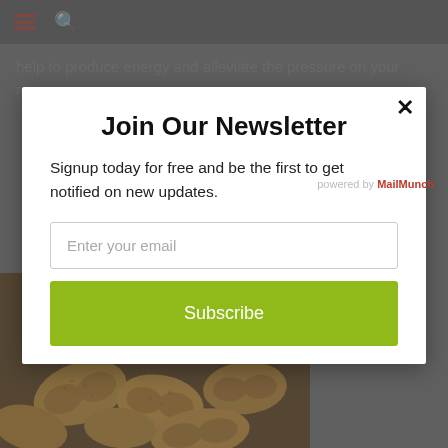help to produce energy and alleviate the pressure on your muscles.
Join Our Newsletter
Signup today for free and be the first to get notified on new updates.
Enter your email
Subscribe
powered by MailMunch
[Figure (photo): Pile of peanuts in shells]